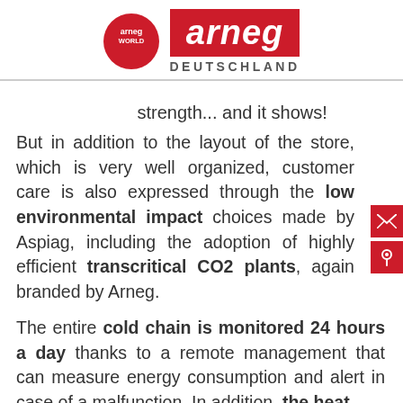arneg WORLD | arneg DEUTSCHLAND
...free and customize to Arneg your strength... and it shows!
But in addition to the layout of the store, which is very well organized, customer care is also expressed through the low environmental impact choices made by Aspiag, including the adoption of highly efficient transcritical CO2 plants, again branded by Arneg.
The entire cold chain is monitored 24 hours a day thanks to a remote management that can measure energy consumption and alert in case of a malfunction. In addition, the heat